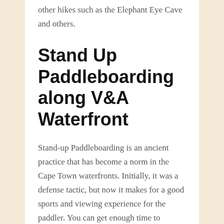other hikes such as the Elephant Eye Cave and others.
Stand Up Paddleboarding along V&A Waterfront
Stand-up Paddleboarding is an ancient practice that has become a norm in the Cape Town waterfronts. Initially, it was a defense tactic, but now it makes for a good sports and viewing experience for the paddler. You can get enough time to witness the sights around the waterfront while having a lovely